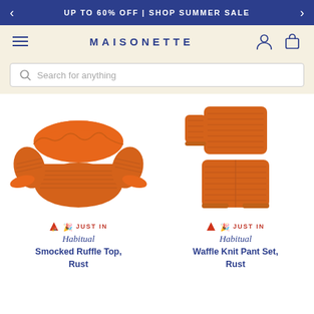UP TO 60% OFF | SHOP SUMMER SALE
[Figure (screenshot): Maisonette e-commerce website header with logo, hamburger menu, user icon, and bag icon on a cream background]
[Figure (screenshot): Search bar with magnifying glass icon and placeholder text 'Search for anything']
[Figure (photo): Orange smocked ruffle top with off-shoulder ruffled neckline and long puff sleeves with ruffle cuffs against white background]
[Figure (photo): Orange waffle knit pant set showing a top and matching pants against white background]
🔺 JUST IN
Habitual
Smocked Ruffle Top, Rust
🔺 JUST IN
Habitual
Waffle Knit Pant Set, Rust